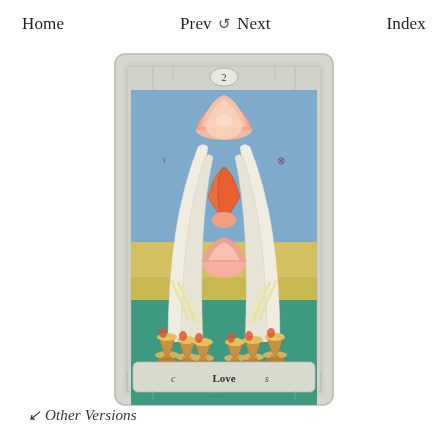Home   Prev ↺ Next   Index
[Figure (illustration): Tarot card illustration: '2 of Cups / Love' from a tarot deck. The card has a light grey decorative border with the number 2 at the top center in an oval. The artwork shows a large lotus flower in full bloom at the top, with white arch-like structures framing a central scene of two koi fish intertwined around a central stem with a yellow star/flower, sitting atop a pink lotus bud. Water streams flow downward into six golden chalice/cup vessels arranged at the bottom. The background transitions from blue sky at the top to yellow/green earth and teal water at the bottom. Astrological symbols appear on the left and right sides of the card. At the bottom of the card a label reads 'Love' styled as 'Cups'.]
↙ Other Versions